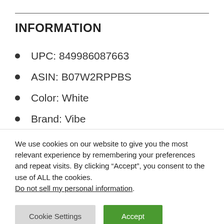INFORMATION
UPC: 849986087663
ASIN: B07W2RPPBS
Color: White
Brand: Vibe
Size: Queen
Height: 12
We use cookies on our website to give you the most relevant experience by remembering your preferences and repeat visits. By clicking “Accept”, you consent to the use of ALL the cookies. Do not sell my personal information.